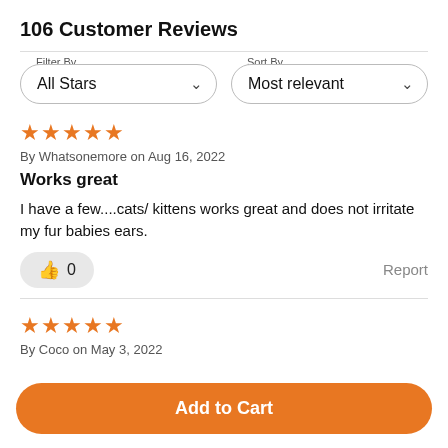106 Customer Reviews
Filter By: All Stars | Sort By: Most relevant
★★★★★
By Whatsonemore on Aug 16, 2022
Works great
I have a few....cats/ kittens works great and does not irritate my fur babies ears.
👍 0   Report
★★★★★
By Coco on May 3, 2022
Add to Cart